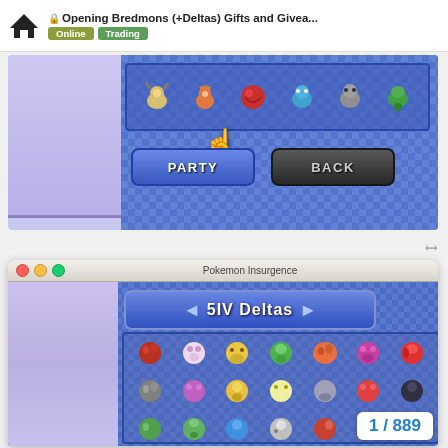Opening Bredmons (+Deltas) Gifts and Givea... | Online | Trading
[Figure (screenshot): Pokemon Insurgence game screenshot showing a trading/party screen with Pokemon sprites and PARTY and BACK buttons]
[Figure (screenshot): Mac window titled 'Pokemon Insurgence' showing 5IV Deltas box with a grid of Delta Pokemon sprites, counter showing 1 / 889]